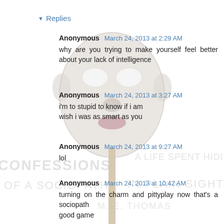[Figure (illustration): A white mask on a stick (like a masquerade mask on a handle), overlaid with faint handwritten text reading 'CONFESSIONS A LIFE SPENT HIDING OF A SOCIOPATH IN PLAIN SIGHT M. E. THOMAS']
▸ Replies
Anonymous March 24, 2013 at 2:29 AM
why are you trying to make yourself feel better about your lack of intelligence
Anonymous March 24, 2013 at 3:27 AM
i'm to stupid to know if i am
wish i was as smart as you
Anonymous March 24, 2013 at 9:27 AM
lol
Anonymous March 24, 2013 at 10:42 AM
turning on the charm and pittyplay now that's a sociopath
good game